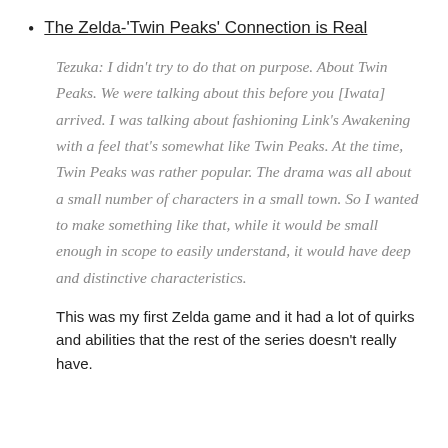The Zelda-'Twin Peaks' Connection is Real
Tezuka: I didn't try to do that on purpose. About Twin Peaks. We were talking about this before you [Iwata] arrived. I was talking about fashioning Link's Awakening with a feel that's somewhat like Twin Peaks. At the time, Twin Peaks was rather popular. The drama was all about a small number of characters in a small town. So I wanted to make something like that, while it would be small enough in scope to easily understand, it would have deep and distinctive characteristics.
This was my first Zelda game and it had a lot of quirks and abilities that the rest of the series doesn't really have.